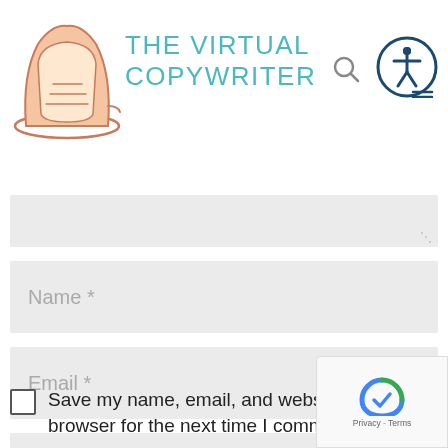[Figure (logo): The Virtual Copywriter logo with illustrated laptop and teal text]
[Figure (screenshot): Comment form with textarea (partially visible at top), Name *, Email *, Website input fields, Save my name checkbox, reCAPTCHA badge, and scroll-to-top button]
Save my name, email, and website in this browser for the next time I comment.